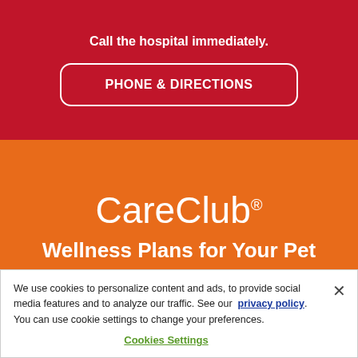Call the hospital immediately.
PHONE & DIRECTIONS
[Figure (logo): CareClub logo in white text on orange background with registered trademark symbol]
Wellness Plans for Your Pet
We use cookies to personalize content and ads, to provide social media features and to analyze our traffic. See our privacy policy. You can use cookie settings to change your preferences.
Cookies Settings